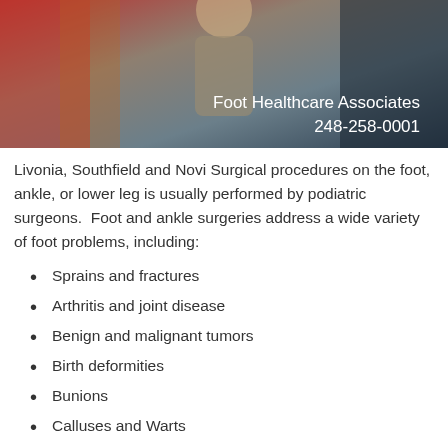[Figure (photo): Photo of a person standing, with overlay text showing practice name and phone number. Background has warm and cool tones. Text reads 'Foot Healthcare Associates 248-258-0001']
Livonia, Southfield and Novi Surgical procedures on the foot, ankle, or lower leg is usually performed by podiatric surgeons.  Foot and ankle surgeries address a wide variety of foot problems, including:
Sprains and fractures
Arthritis and joint disease
Benign and malignant tumors
Birth deformities
Bunions
Calluses and Warts
Corns and hammertoes